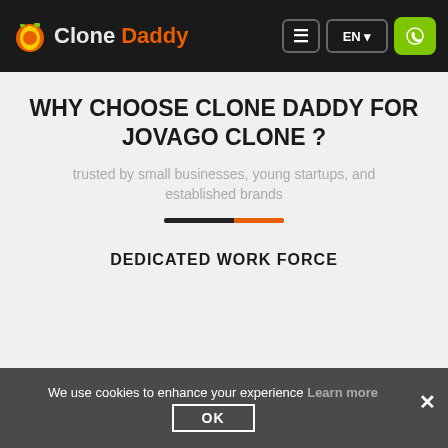Clone Daddy — navigation header with logo, menu, EN language selector, and call button
WHY CHOOSE CLONE DADDY FOR JOVAGO CLONE ?
trusted by small businesses, young startups, and established brands
DEDICATED WORK FORCE
[Figure (illustration): Teal/cyan trapezoid shape representing dedicated work force section icon]
We use cookies to enhance your experience Learn more OK